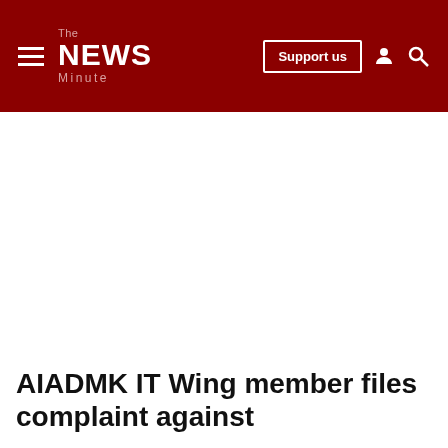The News Minute — Support us
AIADMK IT Wing member files complaint against